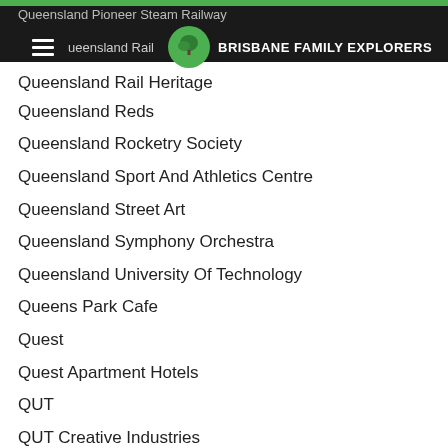Brisbane Family Explorers
Queensland Rail Heritage
Queensland Reds
Queensland Rocketry Society
Queensland Sport And Athletics Centre
Queensland Street Art
Queensland Symphony Orchestra
Queensland University Of Technology
Queens Park Cafe
Quest
Quest Apartment Hotels
QUT
QUT Creative Industries
QUT Dragon Boat Regatta
QUT Gardens Point
QUT The Cube
Railway Museum
Raven Street Reserve